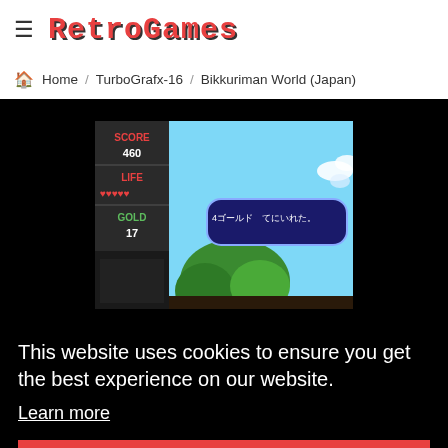RetroGames
Home / TurboGrafx-16 / Bikkuriman World (Japan)
[Figure (screenshot): Bikkuriman World (Japan) TurboGrafx-16 game screenshot showing SCORE 460, LIFE with hearts, GOLD 17, and a Japanese text dialog box '4ゴールド てにいれた。' with a sky and green tree background]
This website uses cookies to ensure you get the best experience on our website.
Learn more
Got it!